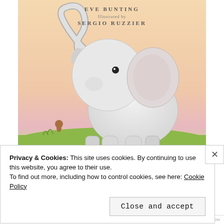[Figure (illustration): Children's book cover illustration showing a cute white baby elephant with a curled trunk against a warm peachy-pink background with green grass at the bottom. Text at top reads author and illustrator names in decorative font.]
Privacy & Cookies: This site uses cookies. By continuing to use this website, you agree to their use.
To find out more, including how to control cookies, see here: Cookie Policy
Close and accept